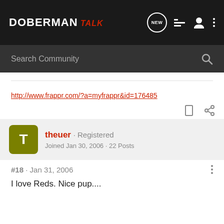DOBERMAN talk — Search Community
http://www.frappr.com/?a=myfrappr&id=176485
theuer · Registered
Joined Jan 30, 2006 · 22 Posts
#18 · Jan 31, 2006
I love Reds. Nice pup....